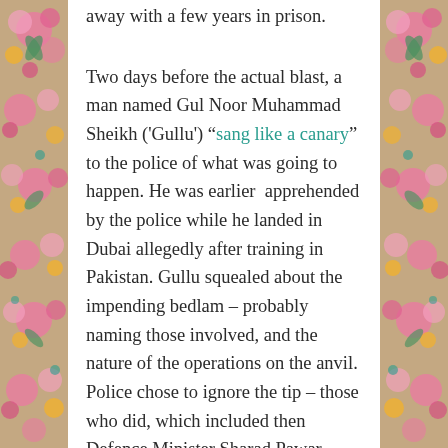away with a few years in prison.
Two days before the actual blast, a man named Gul Noor Muhammad Sheikh ('Gullu') “sang like a canary” to the police of what was going to happen. He was earlier apprehended by the police while he landed in Dubai allegedly after training in Pakistan. Gullu squealed about the impending bedlam – probably naming those involved, and the nature of the operations on the anvil. Police chose to ignore the tip – those who did, which included then Defence Minister Sharad Pawar, were never questioned.
D-Company (or whoever) did not ignore